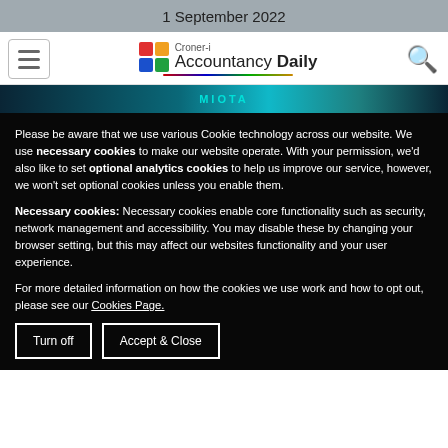1 September 2022
[Figure (logo): Croner-i Accountancy Daily logo with hamburger menu and search icon navigation bar]
[Figure (photo): Dark teal cryptocurrency/finance screen showing MIOTA text]
Please be aware that we use various Cookie technology across our website. We use necessary cookies to make our website operate. With your permission, we'd also like to set optional analytics cookies to help us improve our service, however, we won't set optional cookies unless you enable them.
Necessary cookies: Necessary cookies enable core functionality such as security, network management and accessibility. You may disable these by changing your browser setting, but this may affect our websites functionality and your user experience.
For more detailed information on how the cookies we use work and how to opt out, please see our Cookies Page.